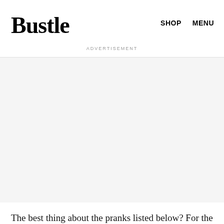Bustle  SHOP  MENU
ADVERTISEMENT
[Figure (other): Advertisement placeholder block with light gray background]
The best thing about the pranks listed below? For the most part, they don't require a lot of planning or